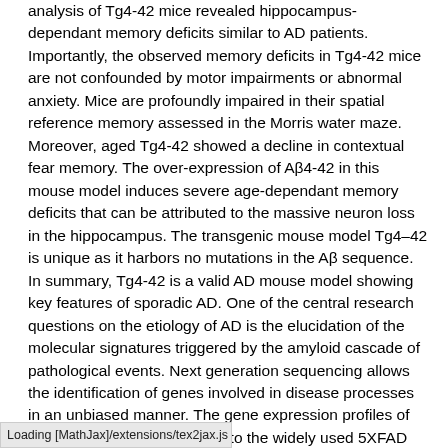analysis of Tg4-42 mice revealed hippocampus-dependant memory deficits similar to AD patients. Importantly, the observed memory deficits in Tg4-42 mice are not confounded by motor impairments or abnormal anxiety. Mice are profoundly impaired in their spatial reference memory assessed in the Morris water maze. Moreover, aged Tg4-42 showed a decline in contextual fear memory. The over-expression of Aβ4-42 in this mouse model induces severe age-dependant memory deficits that can be attributed to the massive neuron loss in the hippocampus. The transgenic mouse model Tg4–42 is unique as it harbors no mutations in the Aβ sequence. In summary, Tg4-42 is a valid AD mouse model showing key features of sporadic AD. One of the central research questions on the etiology of AD is the elucidation of the molecular signatures triggered by the amyloid cascade of pathological events. Next generation sequencing allows the identification of genes involved in disease processes in an unbiased manner. The gene expression profiles of Tg4-42 mice were compared to the widely used 5XFAD mouse model using next-generation sequencing. The comparison with 5XFAD, an established plaque-developing AD mouse model, revealed a remarkable overlap in the molecular signature. The jointly differentially expressed genes might indicate common pathways that are involved in the comparable learning and memory deficits observed at 6 months of age in both transgenic
Loading [MathJax]/extensions/tex2jax.js